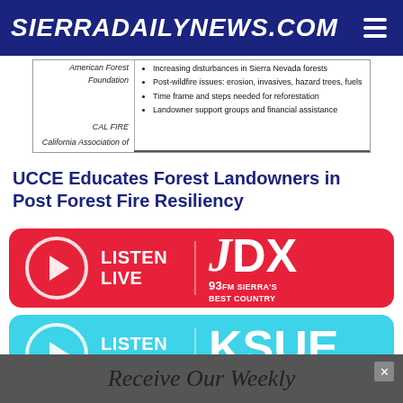SierraDailyNews.com
| American Forest Foundation | Increasing disturbances in Sierra Nevada forests
Post-wildfire issues: erosion, invasives, hazard trees, fuels
Time frame and steps needed for reforestation
Landowner support groups and financial assistance |
| CAL FIRE |  |
| California Association of |  |
UCCE Educates Forest Landowners in Post Forest Fire Resiliency
[Figure (logo): Listen Live banner for JDX 93FM Sierra's Best Country radio station, red background with play button circle and JDX logo]
[Figure (logo): Listen Live banner for KSUE 1240 News Talk Sports radio station, cyan background with play button circle and KSUE logo]
Receive Our Weekly